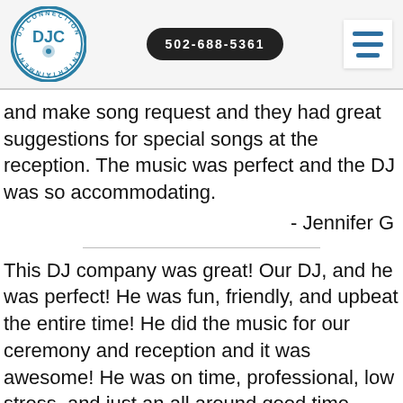[Figure (logo): DJ Connection Entertainment circular logo with DJC initials and turntable graphic in blue and white]
502-688-5361
[Figure (other): Hamburger menu icon with three horizontal blue lines]
and make song request and they had great suggestions for special songs at the reception. The music was perfect and the DJ was so accommodating.
- Jennifer G
This DJ company was great! Our DJ, and he was perfect! He was fun, friendly, and upbeat the entire time! He did the music for our ceremony and reception and it was awesome! He was on time, professional, low stress, and just an all around good time. Also, this company calls and goes over every little detail of the wedding and then confirms